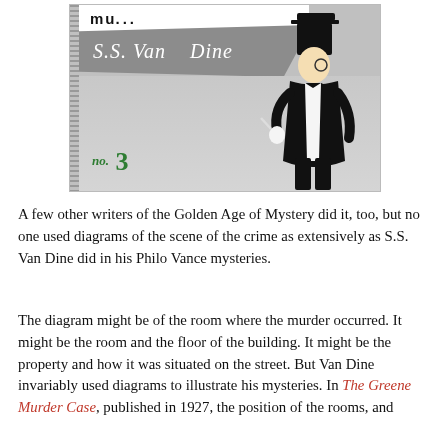[Figure (illustration): Book cover illustration for S.S. Van Dine mystery no. 3, featuring a dapper man in a top hat and tuxedo holding a cigarette, set against a gray graphic background with cursive author name and 'no. 3' label in green.]
A few other writers of the Golden Age of Mystery did it, too, but no one used diagrams of the scene of the crime as extensively as S.S. Van Dine did in his Philo Vance mysteries.
The diagram might be of the room where the murder occurred. It might be the room and the floor of the building. It might be the property and how it was situated on the street. But Van Dine invariably used diagrams to illustrate his mysteries. In The Greene Murder Case, published in 1927, the position of the rooms, and